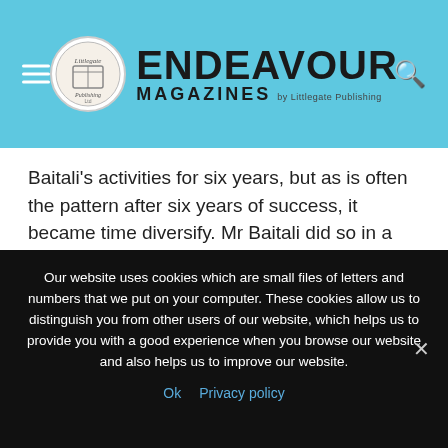Endeavour Magazines by Littlegate Publishing
Baitali’s activities for six years, but as is often the pattern after six years of success, it became time diversify. Mr Baitali did so in a drastic direction, not complimenting his contractors with a manufacturer or expanded construction services, but instead branching into agriculture. To forgive the pun, the founder didn’t want to put all of his eggs in one basket – however, the agricultural company’s main output was in fact rice.
Our website uses cookies which are small files of letters and numbers that we put on your computer. These cookies allow us to distinguish you from other users of our website, which helps us to provide you with a good experience when you browse our website and also helps us to improve our website.
Ok  Privacy policy